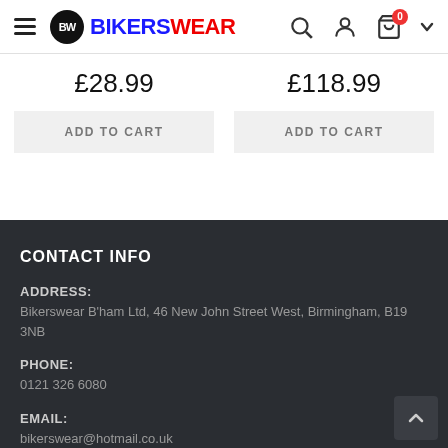BW BIKERS WEAR
£28.99
ADD TO CART
£118.99
ADD TO CART
CONTACT INFO
ADDRESS:
Bikerswear B'ham Ltd, 46 New John Street West, Birmingham, B19 3NB
PHONE:
0121 326 6080
EMAIL:
bikerswear@hotmail.co.uk